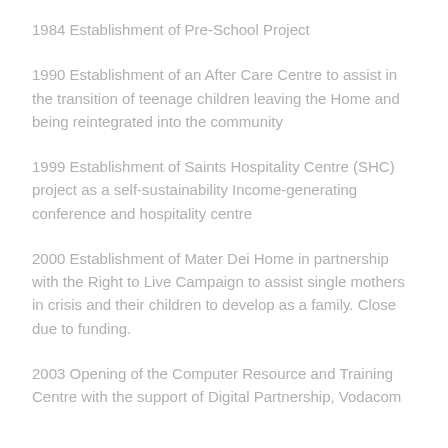1984 Establishment of Pre-School Project
1990 Establishment of an After Care Centre to assist in the transition of teenage children leaving the Home and being reintegrated into the community
1999 Establishment of Saints Hospitality Centre (SHC) project as a self-sustainability Income-generating conference and hospitality centre
2000 Establishment of Mater Dei Home in partnership with the Right to Live Campaign to assist single mothers in crisis and their children to develop as a family. Close due to funding.
2003 Opening of the Computer Resource and Training Centre with the support of Digital Partnership, Vodacom